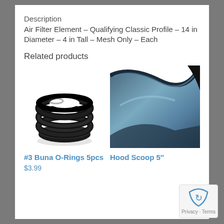Description
Air Filter Element – Qualifying Classic Profile – 14 in Diameter – 4 in Tall – Mesh Only – Each
Related products
[Figure (photo): Black rubber O-rings stacked in a coil, product photo on white background]
[Figure (photo): Dark blue hood scoop automotive part, curved shape, product photo]
#3 Buna O-Rings 5pcs
$3.99
Hood Scoop 5″